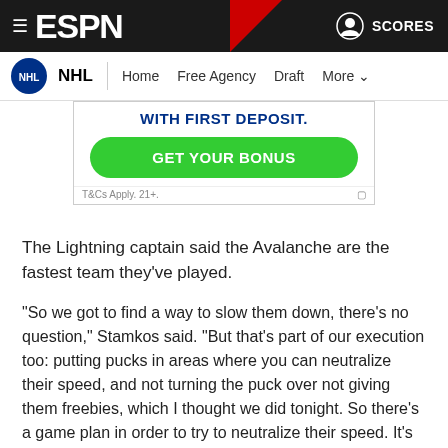ESPN NHL Navigation - Home, Free Agency, Draft, More
[Figure (screenshot): Advertisement banner with 'WITH FIRST DEPOSIT.' headline in blue bold text, a green 'GET YOUR BONUS' button, and 'T&Cs Apply. 21+.' footer text]
The Lightning captain said the Avalanche are the fastest team they've played.
"So we got to find a way to slow them down, there's no question," Stamkos said. "But that's part of our execution too: putting pucks in areas where you can neutralize their speed, and not turning the puck over not giving them freebies, which I thought we did tonight. So there's a game plan in order to try to neutralize their speed. It's no secret they're a very fast team, so